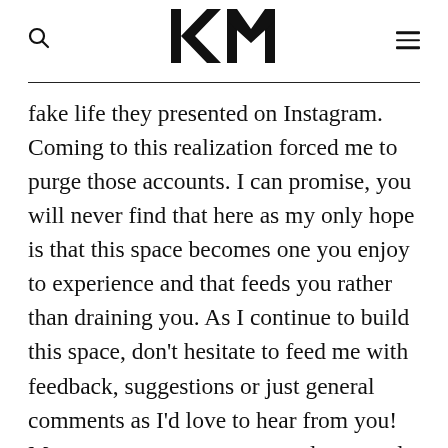KM
fake life they presented on Instagram. Coming to this realization forced me to purge those accounts. I can promise, you will never find that here as my only hope is that this space becomes one you enjoy to experience and that feeds you rather than draining you. As I continue to build this space, don't hesitate to feed me with feedback, suggestions or just general comments as I'd love to hear from you! More to come soon on a newsletter, and I'll be rolling out content on a weekly basis moving forward. Thank you again for reading this inaugural post, and being witness